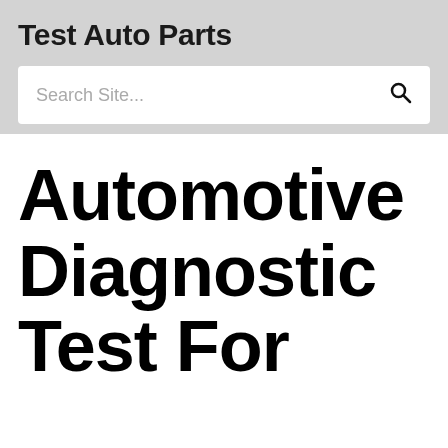Test Auto Parts
[Figure (other): Search bar with placeholder text 'Search Site...' and a magnifying glass icon]
Automotive Diagnostic Test For